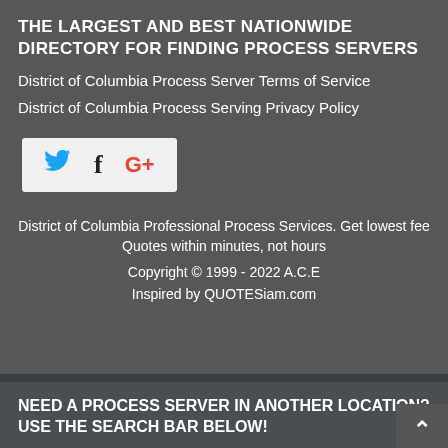THE LARGEST AND BEST NATIONWIDE DIRECTORY FOR FINDING PROCESS SERVERS
District of Columbia Process Server Terms of Service
District of Columbia Process Serving Privacy Policy
[Figure (other): Social media icons panel with Twitter (blue bird), Facebook (f), and Google+ (G+) on a light grey background]
District of Columbia Professional Process Services. Get lowest fee Quotes within minutes, not hours
Copyright © 1999 - 2022 A.C.E
Inspired by QUOTESiam.com
NEED A PROCESS SERVER IN ANOTHER LOCATION? USE THE SEARCH BAR BELOW!